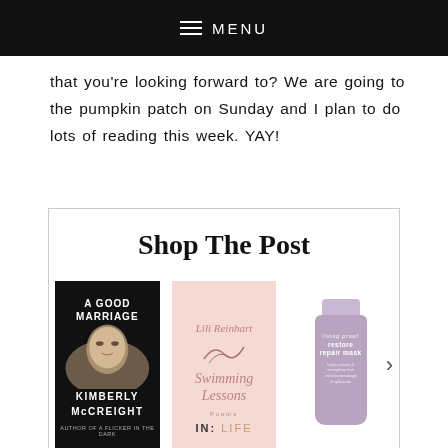MENU
that you're looking forward to? We are going to the pumpkin patch on Sunday and I plan to do lots of reading this week. YAY!
Shop The Post
[Figure (other): Carousel of three product images: Book 'A Good Marriage' by Kimberly McCreight, Book 'Swimming Lessons' by Lili Reinhart, and Living proof hair product. Left and right navigation arrows.]
IN: LIFE